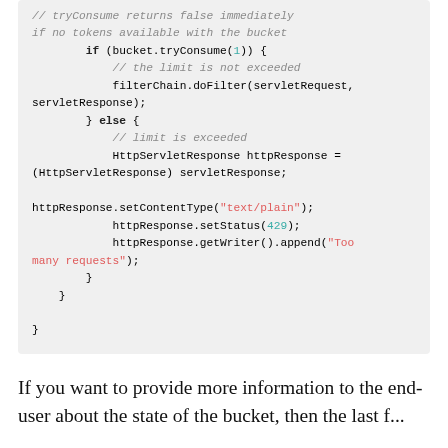[Figure (screenshot): Code block showing Java servlet filter code with rate limiting logic using tryConsume, filterChain.doFilter, and HTTP 429 response setup]
If you want to provide more information to the end-user about the state of the bucket, then the last f...